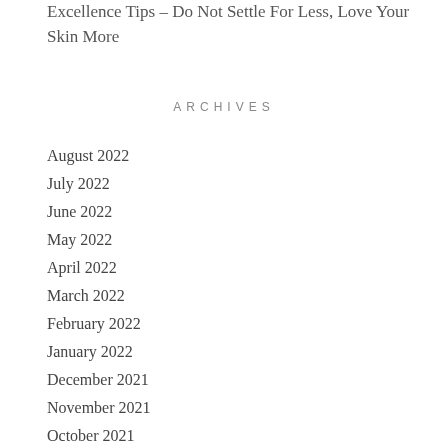Excellence Tips – Do Not Settle For Less, Love Your Skin More
ARCHIVES
August 2022
July 2022
June 2022
May 2022
April 2022
March 2022
February 2022
January 2022
December 2021
November 2021
October 2021
September 2021